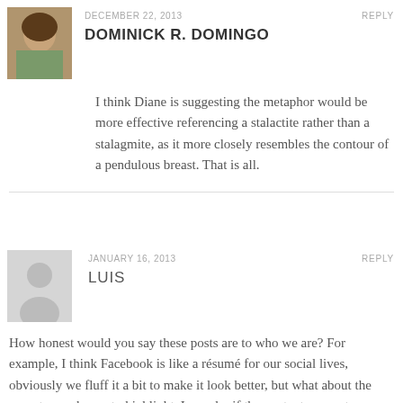[Figure (photo): Profile photo of Dominick R. Domingo, a man with dark wavy hair and beard, outdoors]
DECEMBER 22, 2013
REPLY
DOMINICK R. DOMINGO
I think Diane is suggesting the metaphor would be more effective referencing a stalactite rather than a stalagmite, as it more closely resembles the contour of a pendulous breast. That is all.
[Figure (illustration): Generic grey silhouette avatar placeholder for user Luis]
JANUARY 16, 2013
REPLY
LUIS
How honest would you say these posts are to who we are? For example, I think Facebook is like a résumé for our social lives, obviously we fluff it a bit to make it look better, but what about the aspects we choose to highlight. I wonder if the content we post may suggest things we value like relationships, education, or humor. What do you think?